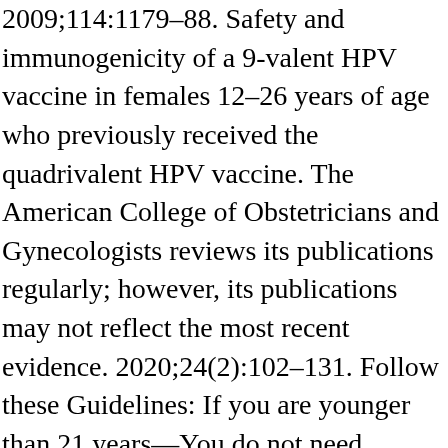2009;114:1179–88. Safety and immunogenicity of a 9-valent HPV vaccine in females 12–26 years of age who previously received the quadrivalent HPV vaccine. The American College of Obstetricians and Gynecologists reviews its publications regularly; however, its publications may not reflect the most recent evidence. 2020;24(2):102–131. Follow these Guidelines: If you are younger than 21 years—You do not need screening. If you are aged 30–65 years—You can choose one of three options: Have a Pap test and an HPV test (co-